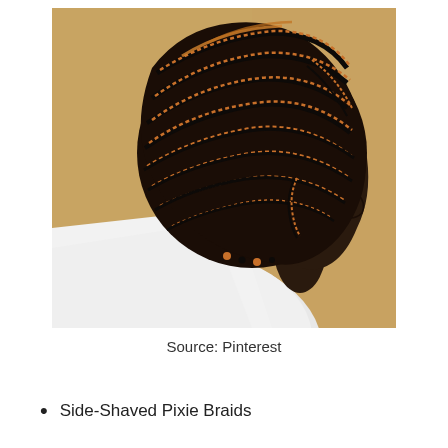[Figure (photo): Side profile of a person with short braided hairstyle featuring black and orange/amber micro braids styled close to the head, wearing a white top, against a tan/beige background.]
Source: Pinterest
Side-Shaved Pixie Braids